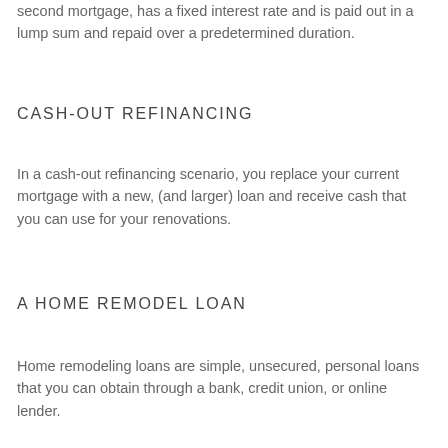second mortgage, has a fixed interest rate and is paid out in a lump sum and repaid over a predetermined duration.
CASH-OUT REFINANCING
In a cash-out refinancing scenario, you replace your current mortgage with a new, (and larger) loan and receive cash that you can use for your renovations.
A HOME REMODEL LOAN
Home remodeling loans are simple, unsecured, personal loans that you can obtain through a bank, credit union, or online lender.